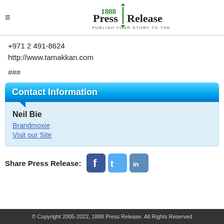1888 Press Release — PUBLISH YOUR STORY TO THE WORLD
+971 2 491-8624
http://www.tamakkan.com
###
Contact Information
Neil Bie
Brandmoxie
Visit our Site
Share Press Release:
© Copyright 2005-2022, 1888 Press Release. All Rights Reserved